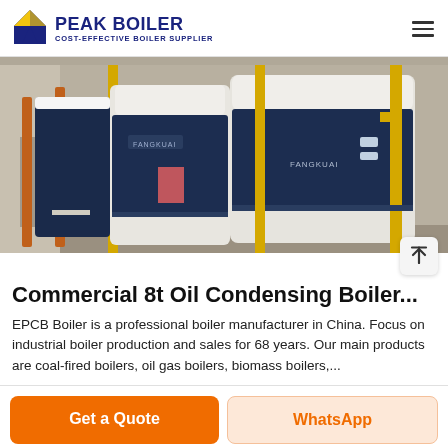PEAK BOILER COST-EFFECTIVE BOILER SUPPLIER
[Figure (photo): Industrial boiler room showing large white and dark blue condensing boilers with yellow gas pipes and orange structural supports in a facility.]
Commercial 8t Oil Condensing Boiler...
EPCB Boiler is a professional boiler manufacturer in China. Focus on industrial boiler production and sales for 68 years. Our main products are coal-fired boilers, oil gas boilers, biomass boilers,...
Get a Quote
WhatsApp